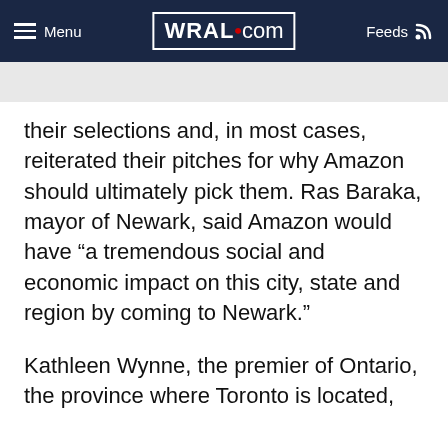Menu | WRAL.com | Feeds
their selections and, in most cases, reiterated their pitches for why Amazon should ultimately pick them. Ras Baraka, mayor of Newark, said Amazon would have “a tremendous social and economic impact on this city, state and region by coming to Newark.”
Kathleen Wynne, the premier of Ontario, the province where Toronto is located,